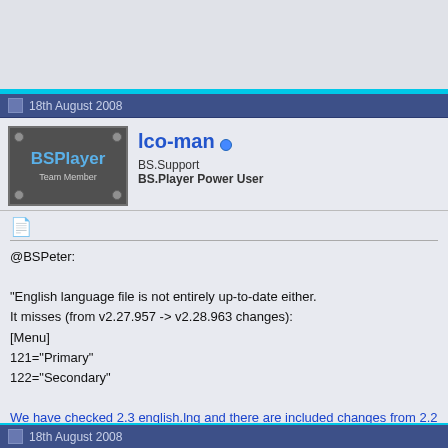18th August 2008
[Figure (illustration): BSPlayer Team Member avatar badge - dark grey plaque with BSPlayer text in blue and 'Team Member' in white, with screws at corners]
lco-man BS.Support BS.Player Power User
@BSPeter:

"English language file is not entirely up-to-date either.
It misses (from v2.27.957 -> v2.28.963 changes):
[Menu]
121="Primary"
122="Secondary"
We have checked 2.3 english.lng and there are included changes from 2.2
|Android translations | Technical help for PRO users | BS.Player-Subtitles.c
18th August 2008